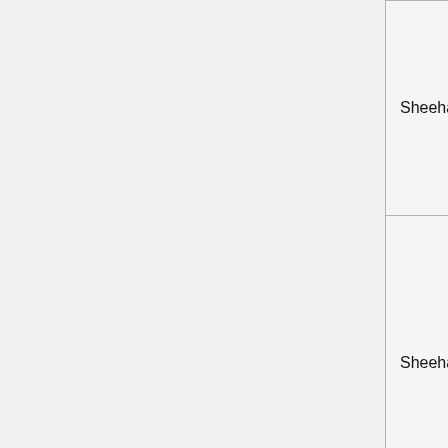| Author(s) | Year | Journal |
| --- | --- | --- |
| Sheehan, Dai, Chan & Lam | 2012 | Engineering Structures |
| Sheehan and Chan | 2012 | Tubular Structures |
| Shawkat, Fahmy, & Fam | 2008 | Composite Structures |
|  |  |  |